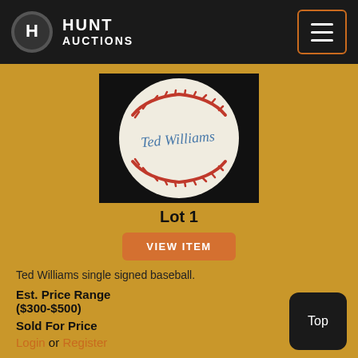Hunt Auctions
[Figure (photo): A signed baseball with 'Ted Williams' signature in blue ink, red stitching visible, on dark background]
Lot 1
VIEW ITEM
Ted Williams single signed baseball.
Est. Price Range ($300-$500)
Sold For Price
Login or Register